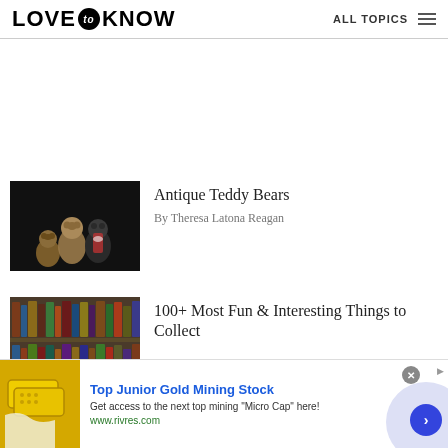LOVE to KNOW  ALL TOPICS
[Figure (photo): Three antique teddy bears posed against a dark background]
Antique Teddy Bears
By Theresa Latona Reagan
[Figure (photo): Books on library shelves]
100+ Most Fun & Interesting Things to Collect
[Figure (other): Advertisement: Top Junior Gold Mining Stock - Get access to the next top mining Micro Cap here! www.rivres.com]